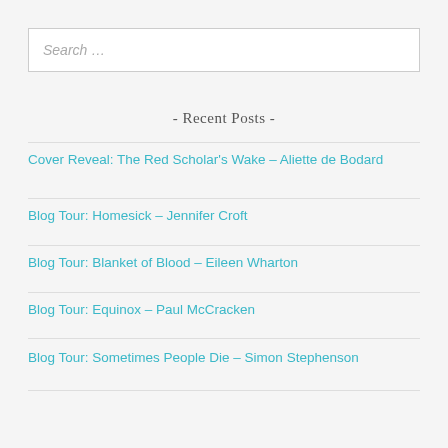Search …
- Recent Posts -
Cover Reveal: The Red Scholar's Wake – Aliette de Bodard
Blog Tour: Homesick – Jennifer Croft
Blog Tour: Blanket of Blood – Eileen Wharton
Blog Tour: Equinox – Paul McCracken
Blog Tour: Sometimes People Die – Simon Stephenson